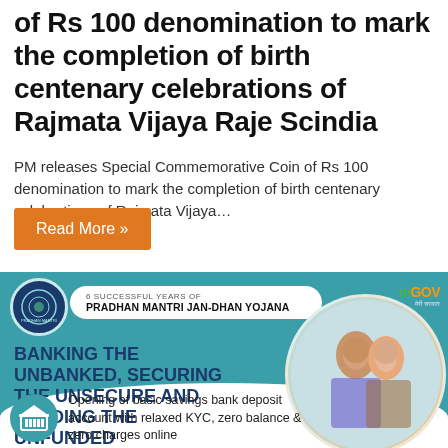of Rs 100 denomination to mark the completion of birth centenary celebrations of Rajmata Vijaya Raje Scindia
PM releases Special Commemorative Coin of Rs 100 denomination to mark the completion of birth centenary celebrations of Rajmata Vijaya…
Read More »
[Figure (infographic): Infographic for 6 Successful Years of Pradhan Mantri Jan-Dhan Yojana. Teal background with text 'Banking the Unbanked, Securing the Unsecure and Funding the Unfunded'. Photo of smiling women holding documents. Bottom section: Opening of basic savings bank deposit account with relaxed KYC, zero balance & zero charges online. MyGov logo top right. PMJDY logo circle top left.]